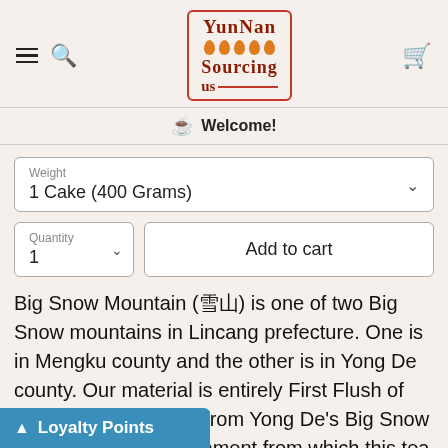[Figure (logo): Yunnan Sourcing US logo with red border, orange teardrop dots, and dark red serif text]
Welcome!
Weight
1 Cake (400 Grams)
Quantity
1
Add to cart
Big Snow Mountain (雪山) is one of two Big Snow mountains in Lincang prefecture. One is in Mengku county and the other is in Yong De county. Our material is entirely First Flush of Spring 2010 material from Yong De's Big Snow Mountain. The environment from which this tea comes from is a natural un-en filled with trees and tea bushes between
Loyalty Points